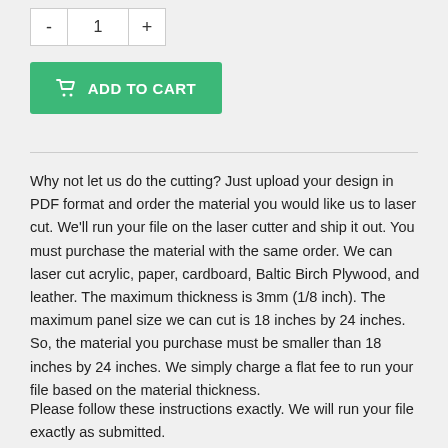[Figure (other): Quantity selector with minus button, input showing 1, and plus button]
[Figure (other): Green Add to Cart button with shopping cart icon]
Why not let us do the cutting? Just upload your design in PDF format and order the material you would like us to laser cut. We'll run your file on the laser cutter and ship it out. You must purchase the material with the same order. We can laser cut acrylic, paper, cardboard, Baltic Birch Plywood, and leather. The maximum thickness is 3mm (1/8 inch). The maximum panel size we can cut is 18 inches by 24 inches. So, the material you purchase must be smaller than 18 inches by 24 inches. We simply charge a flat fee to run your file based on the material thickness.
Please follow these instructions exactly. We will run your file exactly as submitted.